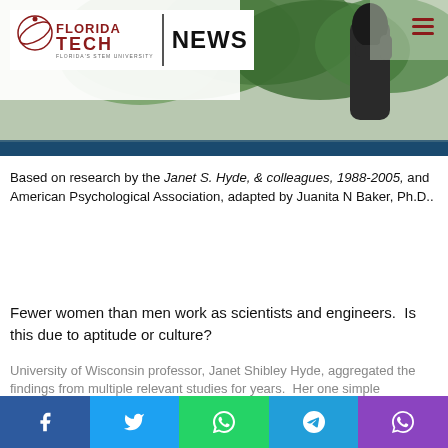[Figure (photo): Florida Tech News website header with logo and photo of campus statue among green foliage]
Based on research by the Janet S. Hyde, & colleagues, 1988-2005, and American Psychological Association, adapted by Juanita N Baker, Ph.D..
Fewer women than men work as scientists and engineers.  Is this due to aptitude or culture?
University of Wisconsin professor, Janet Shibley Hyde, aggregated the findings from multiple relevant studies for years.  Her one simple conclusion: The sexes are more the same than they are different.
[Figure (infographic): Social sharing bar with Facebook, Twitter, WhatsApp, Telegram, and phone share buttons]